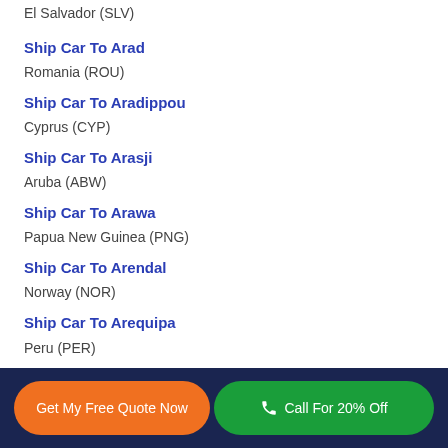El Salvador (SLV)
Ship Car To Arad
Romania (ROU)
Ship Car To Aradippou
Cyprus (CYP)
Ship Car To Arasji
Aruba (ABW)
Ship Car To Arawa
Papua New Guinea (PNG)
Ship Car To Arendal
Norway (NOR)
Ship Car To Arequipa
Peru (PER)
Get My Free Quote Now | Call For 20% Off